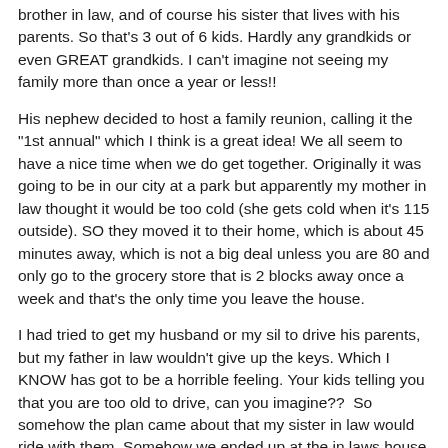brother in law, and of course his sister that lives with his parents. So that's 3 out of 6 kids. Hardly any grandkids or even GREAT grandkids. I can't imagine not seeing my family more than once a year or less!!
His nephew decided to host a family reunion, calling it the "1st annual" which I think is a great idea! We all seem to have a nice time when we do get together. Originally it was going to be in our city at a park but apparently my mother in law thought it would be too cold (she gets cold when it's 115 outside). SO they moved it to their home, which is about 45 minutes away, which is not a big deal unless you are 80 and only go to the grocery store that is 2 blocks away once a week and that's the only time you leave the house.
I had tried to get my husband or my sil to drive his parents, but my father in law wouldn't give up the keys. Which I KNOW has got to be a horrible feeling. Your kids telling you that you are too old to drive, can you imagine??  So somehow the plan came about that my sister in law would ride with them. Somehow we ended up at the in laws house waiting for my sister in law to get there (which I KNEW she